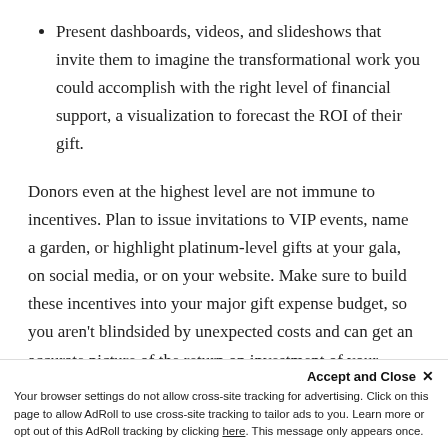Present dashboards, videos, and slideshows that invite them to imagine the transformational work you could accomplish with the right level of financial support, a visualization to forecast the ROI of their gift.
Donors even at the highest level are not immune to incentives. Plan to issue invitations to VIP events, name a garden, or highlight platinum-level gifts at your gala, on social media, or on your website. Make sure to build these incentives into your major gift expense budget, so you aren't blindsided by unexpected costs and can get an accurate picture of the return on investment of your efforts.
Accept and Close ✕ Your browser settings do not allow cross-site tracking for advertising. Click on this page to allow AdRoll to use cross-site tracking to tailor ads to you. Learn more or opt out of this AdRoll tracking by clicking here. This message only appears once.